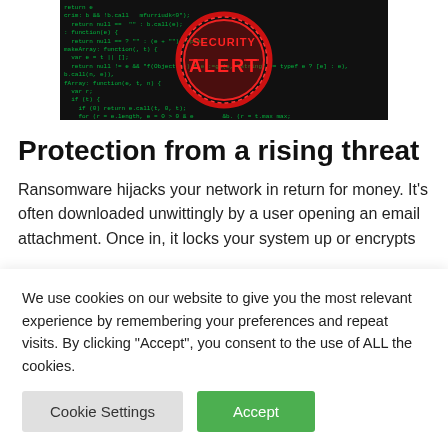[Figure (photo): A dark background image showing green code/programming text with a red circular 'SECURITY ALERT' badge/stamp overlaid in the center]
Protection from a rising threat
Ransomware hijacks your network in return for money. It's often downloaded unwittingly by a user opening an email attachment. Once in, it locks your system up or encrypts
We use cookies on our website to give you the most relevant experience by remembering your preferences and repeat visits. By clicking "Accept", you consent to the use of ALL the cookies.